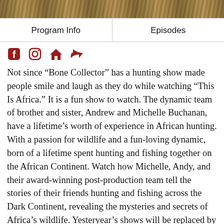[Figure (photo): Wildlife/nature background image showing savanna or African landscape texture]
Program Info | Episodes
[Figure (infographic): Social media icons: Facebook, Instagram, Home, Share (in dark red/crimson color)]
Not since “Bone Collector” has a hunting show made people smile and laugh as they do while watching “This Is Africa.” It is a fun show to watch. The dynamic team of brother and sister, Andrew and Michelle Buchanan, have a lifetime’s worth of experience in African hunting. With a passion for wildlife and a fun-loving dynamic, born of a lifetime spent hunting and fishing together on the African Continent. Watch how Michelle, Andy, and their award-winning post-production team tell the stories of their friends hunting and fishing across the Dark Continent, revealing the mysteries and secrets of Africa’s wildlife. Yesteryear’s shows will be replaced by knowledge of local people, cultures, and animals (big and small), in today’s challenging and quirky Africa. Poaching, anti-